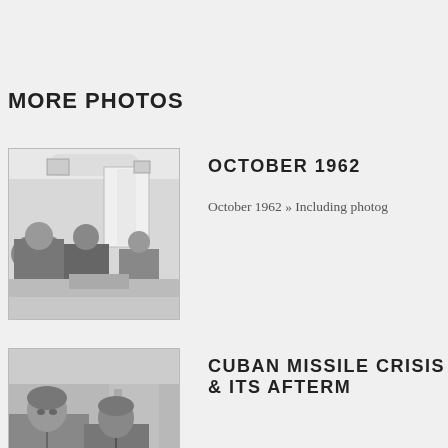MORE PHOTOS
[Figure (photo): Black and white photograph of several men in suits seated in what appears to be an official room, likely the White House.]
OCTOBER 1962
October 1962 » Including photog
[Figure (photo): Black and white photograph of John F. Kennedy and another man, appears to be an official White House setting.]
CUBAN MISSILE CRISIS & ITS AFTERM